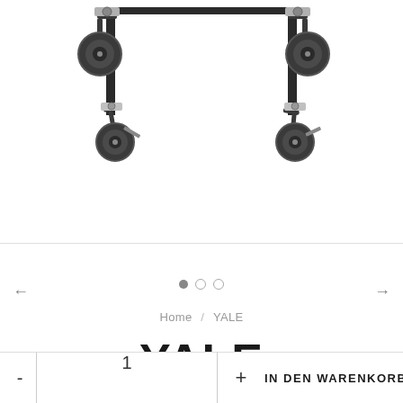[Figure (photo): Close-up photo of the bottom of a roll container (YALE) showing four industrial swivel caster wheels with metal frames attached to vertical black poles and a horizontal crossbar, on white background]
← ● ○ ○ →
Home / YALE
YALE
roll container
- 1 + IN DEN WARENKORB